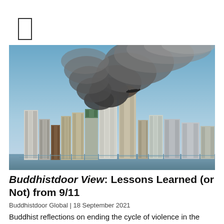[Figure (photo): Photograph of the Manhattan skyline on September 11, 2001, showing smoke billowing from the World Trade Center towers with an aircraft visible in the sky.]
Buddhistdoor View: Lessons Learned (or Not) from 9/11
Buddhistdoor Global | 18 September 2021
Buddhist reflections on ending the cycle of violence in the